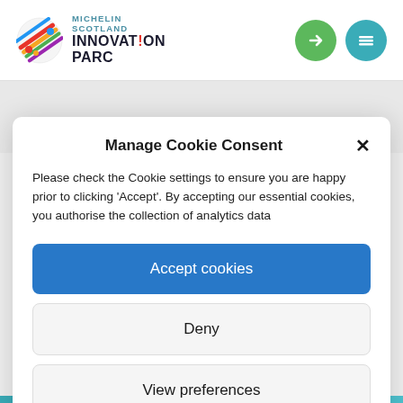[Figure (logo): Michelin Scotland Innovation Parc logo with colorful diagonal stripes icon and text]
Manage Cookie Consent
Please check the Cookie settings to ensure you are happy prior to clicking 'Accept'. By accepting our essential cookies, you authorise the collection of analytics data
Accept cookies
Deny
View preferences